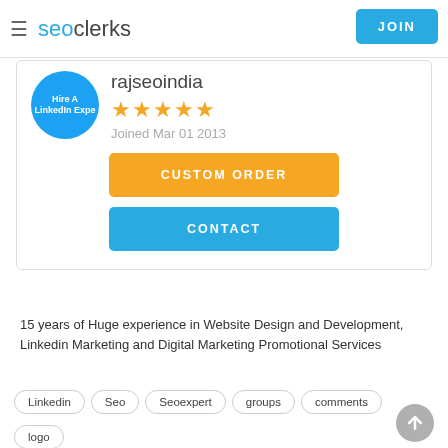seoclerks  JOIN
[Figure (screenshot): User profile card with avatar circle showing 'Hire A LinkedIn Expert', username 'rajseoindia', five gold stars, joined date, and two buttons: CUSTOM ORDER and CONTACT]
15 years of Huge experience in Website Design and Development, Linkedin Marketing and Digital Marketing Promotional Services
Linkedin
Seo
Seoexpert
groups
comments
logo